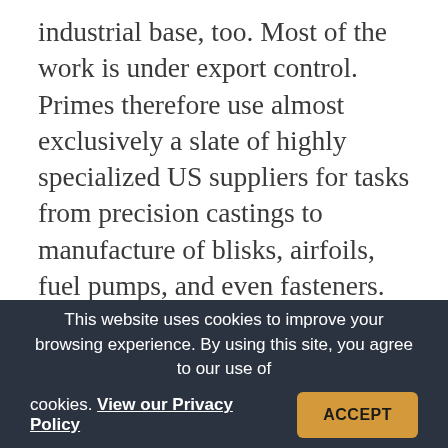industrial base, too. Most of the work is under export control. Primes therefore use almost exclusively a slate of highly specialized US suppliers for tasks from precision castings to manufacture of blisks, airfoils, fuel pumps, and even fasteners. Dollars spent on advanced propulsion help fuel cutting-edge US manufacturing. “The investment will also help maintain a competitive industrial base in turbine engine technology, an area critical to our future military capability,” Walker said.
This website uses cookies to improve your browsing experience. By using this site, you agree to our use of cookies. View our Privacy Policy ACCEPT